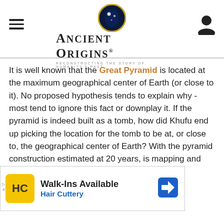Ancient Origins — Reconstructing the story of humanity's past
It is well known that the Great Pyramid is located at the maximum geographical center of Earth (or close to it). No proposed hypothesis tends to explain why - most tend to ignore this fact or downplay it. If the pyramid is indeed built as a tomb, how did Khufu end up picking the location for the tomb to be at, or close to, the geographical center of Earth? With the pyramid construction estimated at 20 years, is mapping and charting the planet factored into the pyramid construction time?
[Figure (advertisement): Hair Cuttery advertisement banner with HC logo, 'Walk-Ins Available' heading, 'Hair Cuttery' subtitle in blue, and a blue navigation arrow icon on the right.]